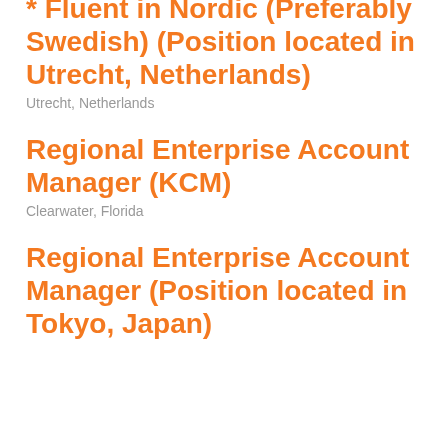* Fluent in Nordic (Preferably Swedish) (Position located in Utrecht, Netherlands)
Utrecht, Netherlands
Regional Enterprise Account Manager (KCM)
Clearwater, Florida
Regional Enterprise Account Manager (Position located in Tokyo, Japan)